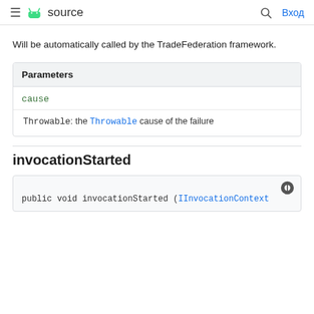≡  source    🔍  Вход
Will be automatically called by the TradeFederation framework.
| Parameters |
| --- |
| cause |
| Throwable: the Throwable cause of the failure |
invocationStarted
public void invocationStarted (IInvocationContext